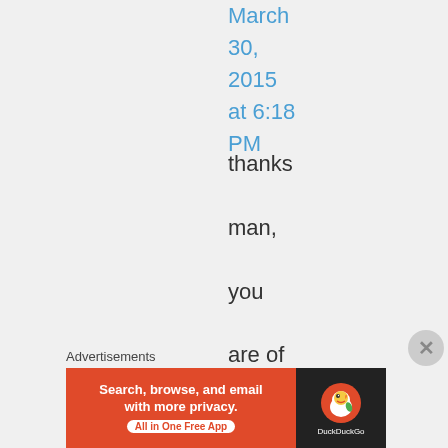March 30, 2015 at 6:18 PM
thanks man, you are of great help.

do you collect
Advertisements
[Figure (other): DuckDuckGo advertisement banner: 'Search, browse, and email with more privacy. All in One Free App' with DuckDuckGo logo on dark background]